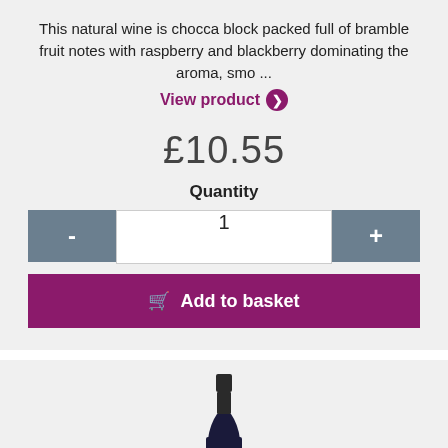This natural wine is chocca block packed full of bramble fruit notes with raspberry and blackberry dominating the aroma, smo ...
View product ❯
£10.55
Quantity
1
Add to basket
[Figure (photo): A wine bottle with a white label showing 'ARG' text, dark glass bottle with black foil top]